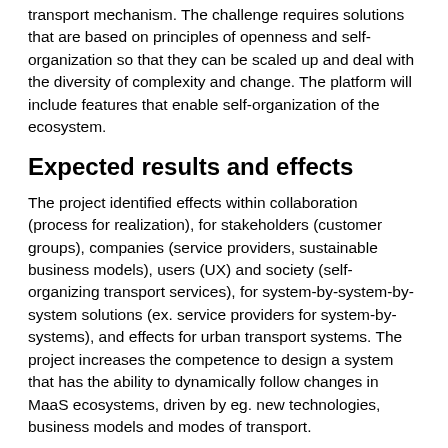transport mechanism. The challenge requires solutions that are based on principles of openness and self-organization so that they can be scaled up and deal with the diversity of complexity and change. The platform will include features that enable self-organization of the ecosystem.
Expected results and effects
The project identified effects within collaboration (process for realization), for stakeholders (customer groups), companies (service providers, sustainable business models), users (UX) and society (self-organizing transport services), for system-by-system-by-system solutions (ex. service providers for system-by-systems), and effects for urban transport systems. The project increases the competence to design a system that has the ability to dynamically follow changes in MaaS ecosystems, driven by eg. new technologies, business models and modes of transport.
Planned approach and